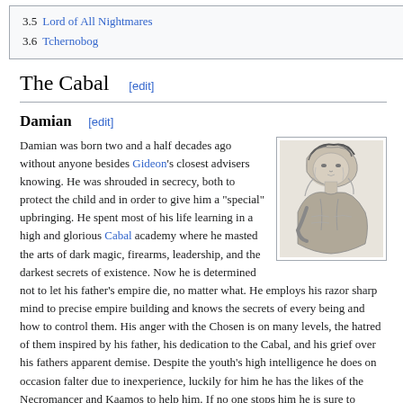3.5 Lord of All Nightmares
3.6 Tchernobog
The Cabal [edit]
Damian [edit]
[Figure (illustration): Pencil sketch illustration of a figure with dark hair leaning forward, drawn in black and white]
Damian was born two and a half decades ago without anyone besides Gideon's closest advisers knowing. He was shrouded in secrecy, both to protect the child and in order to give him a "special" upbringing. He spent most of his life learning in a high and glorious Cabal academy where he masted the arts of dark magic, firearms, leadership, and the darkest secrets of existence. Now he is determined not to let his father's empire die, no matter what. He employs his razor sharp mind to precise empire building and knows the secrets of every being and how to control them. His anger with the Chosen is on many levels, the hatred of them inspired by his father, his dedication to the Cabal, and his grief over his fathers apparent demise. Despite the youth's high intelligence he does on occasion falter due to inexperience, luckily for him he has the likes of the Necromancer and Kaamos to help him. If no one stops him he is sure to become the supreme master of all things, and blast the Chosen down to their component elements.